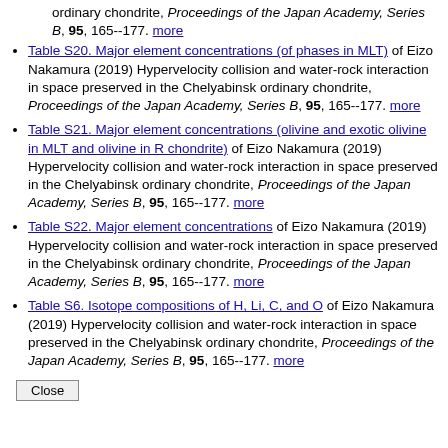ordinary chondrite, Proceedings of the Japan Academy, Series B, 95, 165--177. more
Table S20. Major element concentrations (of phases in MLT) of Eizo Nakamura (2019) Hypervelocity collision and water-rock interaction in space preserved in the Chelyabinsk ordinary chondrite, Proceedings of the Japan Academy, Series B, 95, 165--177. more
Table S21. Major element concentrations (olivine and exotic olivine in MLT and olivine in R chondrite) of Eizo Nakamura (2019) Hypervelocity collision and water-rock interaction in space preserved in the Chelyabinsk ordinary chondrite, Proceedings of the Japan Academy, Series B, 95, 165--177. more
Table S22. Major element concentrations of Eizo Nakamura (2019) Hypervelocity collision and water-rock interaction in space preserved in the Chelyabinsk ordinary chondrite, Proceedings of the Japan Academy, Series B, 95, 165--177. more
Table S6. Isotope compositions of H, Li, C, and O of Eizo Nakamura (2019) Hypervelocity collision and water-rock interaction in space preserved in the Chelyabinsk ordinary chondrite, Proceedings of the Japan Academy, Series B, 95, 165--177. more